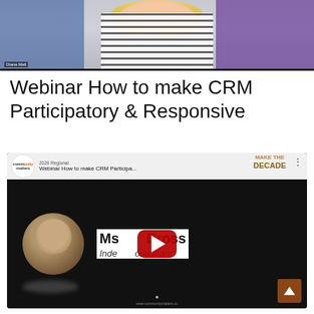[Figure (screenshot): Screenshot of a video call showing a person with blonde hair wearing a striped blouse, with purple and blue background. Name overlay reads 'Diana Mall'.]
Webinar How to make CRM Participatory & Responsive
[Figure (screenshot): Embedded YouTube video player showing 'Webinar How to make CRM Participa...' with community matters logo. Inside the video: presenter Ms. [name] Dross, Independent Consultant, with YouTube play button overlay. Bottom shows www.communitymatters.us watermark. 2020 Regional header visible. 'MAKE THE DECADE' watermark on right. Scroll-to-top button (rust/brown) at bottom right.]